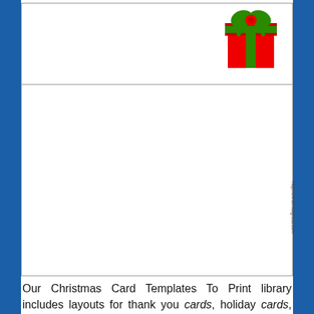[Figure (illustration): A Christmas card template with a red gift box with green ribbon in the top-right corner of the top panel, and a blank lower panel for writing. A vertical URL 'http://christmasgrass.com' appears along the right side.]
Our Christmas Card Templates To Print library includes layouts for thank you cards, holiday cards, Christmas cards, Valentine's cards and more.Send your best wishes when you create your own personalized greeting cards with one of our free greeting card design templates. Brother Creative Center